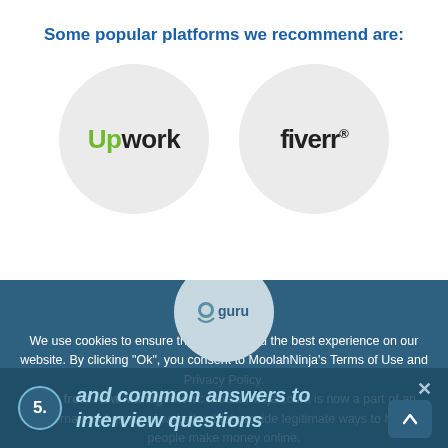Some popular platforms we recommend are:
[Figure (logo): Upwork logo inside a light gray circle]
[Figure (logo): Fiverr logo inside a light gray circle]
[Figure (logo): Guru logo inside a gray circle]
We use cookies to ensure that we give you the best experience on our website. By clicking "Ok", you consent to MoolahNinja's Terms of Use and Privacy Policy.
Note from New Management: MoolahNinjas.com is now a part of an international group of websites that provide legitimate ways to help people make money online.
5. and common answers to interview questions